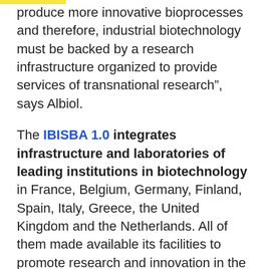produce more innovative bioprocesses and therefore, industrial biotechnology must be backed by a research infrastructure organized to provide services of transnational research”, says Albiol.
The IBISBA 1.0 integrates infrastructure and laboratories of leading institutions in biotechnology in France, Belgium, Germany, Finland, Spain, Italy, Greece, the United Kingdom and the Netherlands. All of them made available its facilities to promote research and innovation in the development of bioprocesses, offering cutting-edge technologies and equipment covering a wide variety of experimental operations and disciplines. The UAB in Spain, for example, will provide the